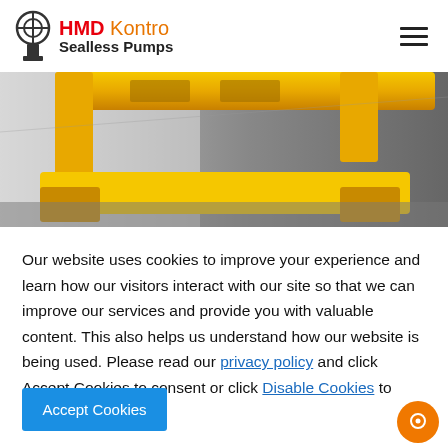HMD Kontro Sealless Pumps
[Figure (photo): Close-up photo of a yellow industrial pump base/frame component on a gradient grey background]
Our website uses cookies to improve your experience and learn how our visitors interact with our site so that we can improve our services and provide you with valuable content. This also helps us understand how our website is being used. Please read our privacy policy and click Accept Cookies to consent or click Disable Cookies to continue.